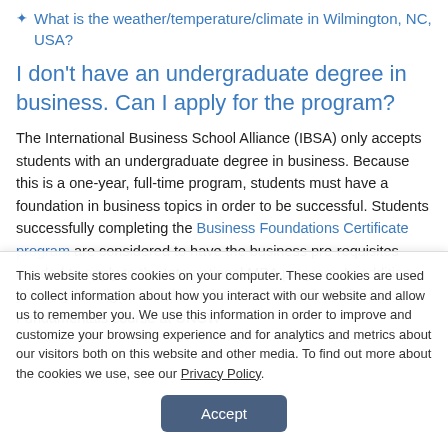What is the weather/temperature/climate in Wilmington, NC, USA?
I don't have an undergraduate degree in business. Can I apply for the program?
The International Business School Alliance (IBSA) only accepts students with an undergraduate degree in business. Because this is a one-year, full-time program, students must have a foundation in business topics in order to be successful. Students successfully completing the Business Foundations Certificate program are considered to have the business pre-requisites needed to apply to the International MBA program. In addition, you may be eligible to take an intensive 7-week Business Fundamentals course at UNCW
This website stores cookies on your computer. These cookies are used to collect information about how you interact with our website and allow us to remember you. We use this information in order to improve and customize your browsing experience and for analytics and metrics about our visitors both on this website and other media. To find out more about the cookies we use, see our Privacy Policy.